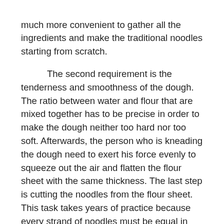much more convenient to gather all the ingredients and make the traditional noodles starting from scratch.

The second requirement is the tenderness and smoothness of the dough. The ratio between water and flour that are mixed together has to be precise in order to make the dough neither too hard nor too soft. Afterwards, the person who is kneading the dough need to exert his force evenly to squeeze out the air and flatten the flour sheet with the same thickness. The last step is cutting the noodles from the flour sheet. This task takes years of practice because every strand of noodles must be equal in width, and depending on the types of noodles, the width can also vary. People can also use the dough to make hand pulled noodles, which is another indication of harmony. To pull the dough into noodles of different thickness, a chef needs to have extraordinary strong arms and also exquisite skills in controlling his